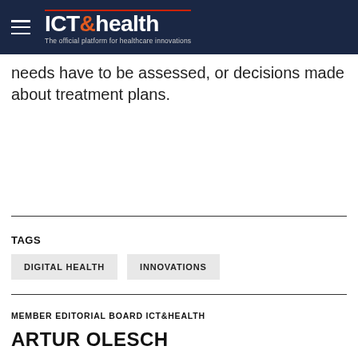ICT&health – The official platform for healthcare innovations
needs have to be assessed, or decisions made about treatment plans.
TAGS
DIGITAL HEALTH
INNOVATIONS
MEMBER EDITORIAL BOARD ICT&HEALTH
ARTUR OLESCH